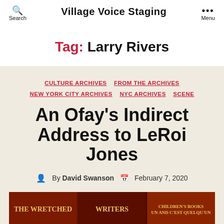Village Voice Staging
Tag: Larry Rivers
CULTURE ARCHIVES  FROM THE ARCHIVES  NEW YORK CITY ARCHIVES  NYC ARCHIVES  SCENE
An Ofay's Indirect Address to LeRoi Jones
By David Swanson  February 7, 2020
[Figure (photo): Three book covers shown at the bottom of the page including The Wretched, Writers, and a Children's Books title]